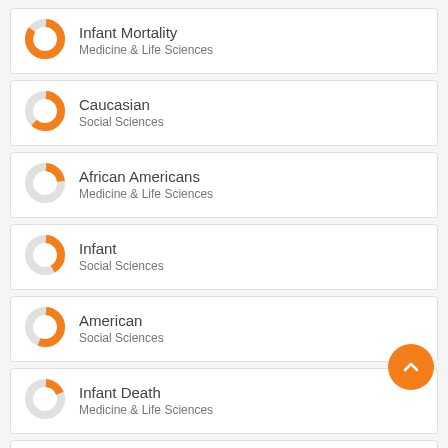[Figure (donut-chart): Small donut chart with orange arc, mostly filled, light gray remainder]
Infant Mortality
Medicine & Life Sciences
[Figure (donut-chart): Small donut chart with orange arc, about 60% filled]
Caucasian
Social Sciences
[Figure (donut-chart): Small donut chart with small orange arc, mostly gray]
African Americans
Medicine & Life Sciences
[Figure (donut-chart): Small donut chart with orange arc, about 40% filled]
Infant
Social Sciences
[Figure (donut-chart): Small donut chart with orange arc, about 55% filled]
American
Social Sciences
[Figure (donut-chart): Small donut chart with small orange arc, mostly gray]
Infant Death
Medicine & Life Sciences
[Figure (donut-chart): Small donut chart with orange arc, partially filled, cropped at bottom]
Pregnant women